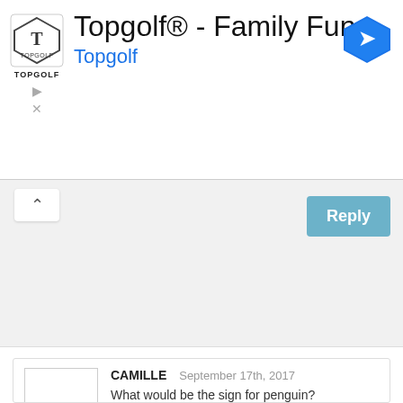[Figure (screenshot): Topgolf advertisement banner with logo, title 'Topgolf® - Family Fun', subtitle 'Topgolf', navigation arrow icon, play and close buttons]
[Figure (screenshot): Reply section with collapse button (^) and Reply button on a gray background]
CAMILLE  September 17th, 2017
What would be the sign for penguin?

ADMIN – Hi Camille,

To sign penguin place both hands waist high palms facing down flat with fingers all together. Move hands up and down as if they were the feet of penguins waddling.